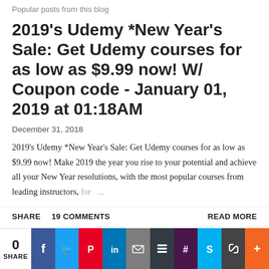Popular posts from this blog
2019's Udemy *New Year's Sale: Get Udemy courses for as low as $9.99 now! W/ Coupon code - January 01, 2019 at 01:18AM
December 31, 2018
2019's Udemy *New Year's Sale: Get Udemy courses for as low as $9.99 now! Make 2019 the year you rise to your potential and achieve all your New Year resolutions, with the most popular courses from leading instructors, for ...
SHARE   19 COMMENTS   READ MORE